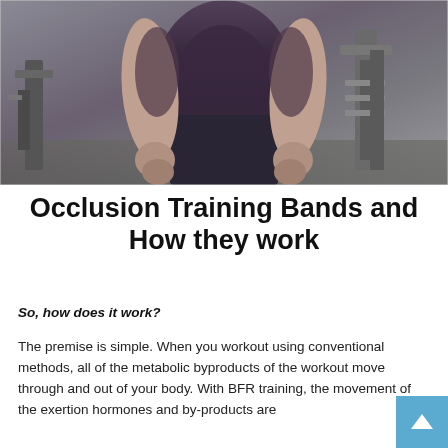[Figure (photo): A person standing in a gym with arms at their sides, wearing a dark sleeveless shirt and shorts, with gym equipment visible in the background. The photo is cropped to show the torso and arms.]
Occlusion Training Bands and How they work
So, how does it work?
The premise is simple. When you workout using conventional methods, all of the metabolic byproducts of the workout move through and out of your body. With BFR training, the movement of the exertion hormones and by-products are